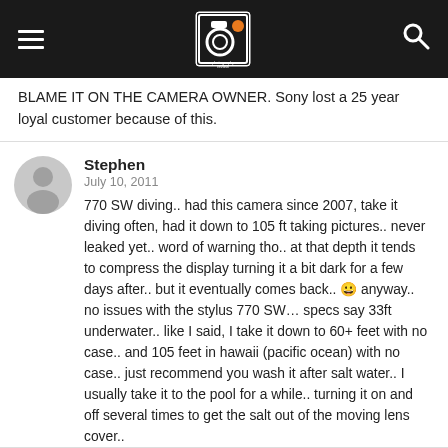Photography Review navigation bar with logo, hamburger menu, and search icon
BLAME IT ON THE CAMERA OWNER. Sony lost a 25 year loyal customer because of this.
Stephen
July 10, 2011
770 SW diving.. had this camera since 2007, take it diving often, had it down to 105 ft taking pictures.. never leaked yet.. word of warning tho.. at that depth it tends to compress the display turning it a bit dark for a few days after.. but it eventually comes back.. 😀 anyway.. no issues with the stylus 770 SW… specs say 33ft underwater.. like I said, I take it down to 60+ feet with no case.. and 105 feet in hawaii (pacific ocean) with no case.. just recommend you wash it after salt water.. I usually take it to the pool for a while.. turning it on and off several times to get the salt out of the moving lens cover..